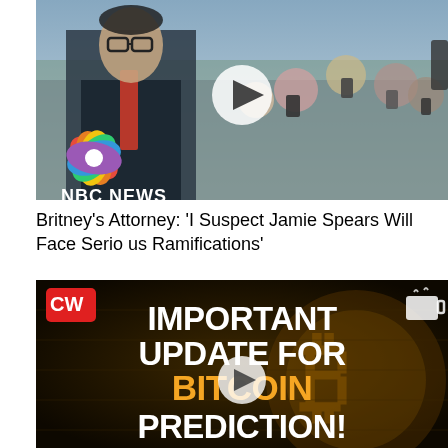[Figure (photo): NBC News video thumbnail showing a man in a suit (attorney) surrounded by a crowd of people holding phones, with NBC News logo in bottom left and a play button overlay]
Britney's Attorney: 'I Suspect Jamie Spears Will Face Serious Ramifications'
[Figure (screenshot): Video thumbnail with dark Bitcoin coin background, CW channel logo top-left, coffee cup icon top-right, white bold text reading 'IMPORTANT UPDATE FOR' then orange bold 'BITCOIN' then white bold 'PREDICTION!' with play button overlay]